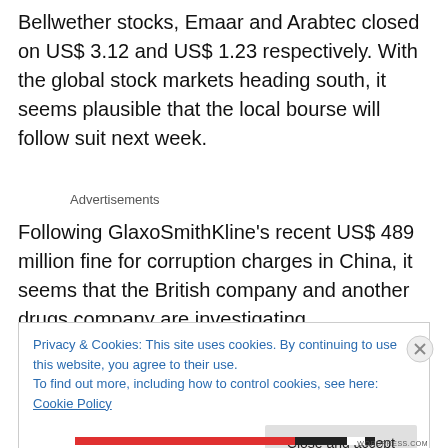Bellwether stocks, Emaar and Arabtec closed on US$ 3.12 and US$ 1.23 respectively. With the global stock markets heading south, it seems plausible that the local bourse will follow suit next week.
Advertisements
Following GlaxoSmithKline's recent US$ 489 million fine for corruption charges in China, it seems that the British company and another drugs company are investigating
Privacy & Cookies: This site uses cookies. By continuing to use this website, you agree to their use.
To find out more, including how to control cookies, see here: Cookie Policy
Close and accept